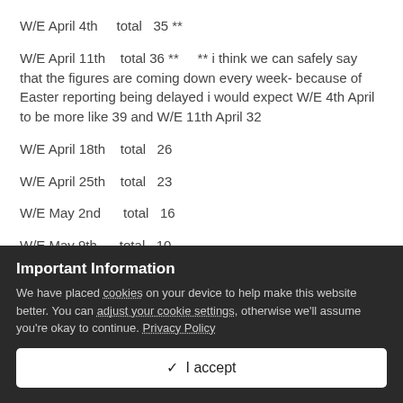W/E April 4th   total  35 **
W/E April 11th   total 36 **    ** i think we can safely say that the figures are coming down every week- because of Easter reporting being delayed i would expect W/E 4th April to be more like 39 and W/E 11th April 32
W/E April 18th   total  26
W/E April 25th   total  23
W/E May 2nd      total  16
W/E May 9th      total  10
Important Information
We have placed cookies on your device to help make this website better. You can adjust your cookie settings, otherwise we'll assume you're okay to continue. Privacy Policy
✓  I accept